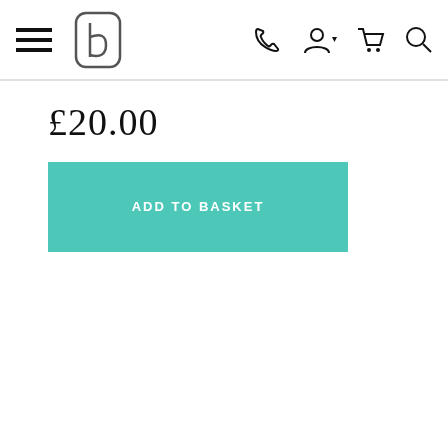[Figure (screenshot): Navigation bar with hamburger menu icon, stylized 'b' logo, phone icon, account icon with dropdown arrow, shopping cart icon, and search icon]
£20.00
ADD TO BASKET